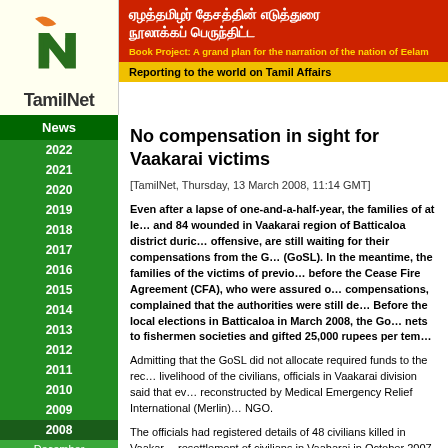[Figure (logo): TamilNet logo with orange and green N graphic and TamilNet text]
ஏழத்தமிழர் தேசத்தின் எடுத்துரை நூலாக்கப் பெருந்திட்ட Book Project: A grand plan for the narration of the nation of Eelam
Reporting to the world on Tamil Affairs
News
2022
2021
2020
2019
2018
2017
2016
2015
2014
2013
2012
2011
2010
2009
2008
December
November
October
September
August
July
June
May
April
No compensation in sight for Vaakarai victims
[TamilNet, Thursday, 13 March 2008, 11:14 GMT]
Even after a lapse of one-and-a-half-year, the families of at least and 84 wounded in Vaakarai region of Batticaloa district during the offensive, are still waiting for their compensations from the GoSL. In the meantime, the families of the victims of previous before the Cease Fire Agreement (CFA), who were assured of compensations, complained that the authorities were still dealing. Before the local elections in Batticaloa in March 2008, the GoSL nets to fishermen societies and gifted 25,000 rupees per tem
Admitting that the GoSL did not allocate required funds to the reconstruction of the livelihood of the civilians, officials in Vaakarai division said that even the hospital was reconstructed by Medical Emergency Relief International (Merlin) and not by the government NGO.
The officials had registered details of 48 civilians killed in Vaakarai, after the resettlement of civilians in Vaaharai in October 2007. The details were forwarded to the District Secretariat for apportioning of the allocated funds.
Meanwhile, according to information compiled by Vaakarai divisional secretariat, civilians killed and 56 wounded in Vaakarai region were Internally Displaced to Trincomalee district. The relevant details of the victims have been submitted to the divisional offices in Eechchantheevu and Champoor but no compensation has been paid to the relatives of affected people as well to the injured.